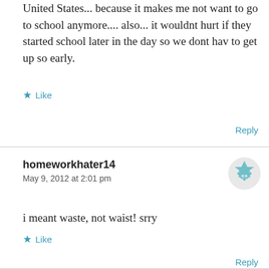United States... because it makes me not want to go to school anymore.... also... it wouldnt hurt if they started school later in the day so we dont hav to get up so early.
Like
Reply
homeworkhater14
May 9, 2012 at 2:01 pm
i meant waste, not waist! srry
Like
Reply